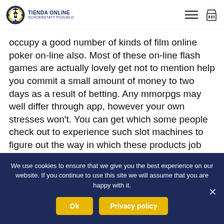[Figure (logo): Tienda Online Schoenstatt Pozuelo logo with circular emblem]
occupy a good number of kinds of film online poker on-line also. Most of these on-line flash games are actually lovely get not to mention help you commit a small amount of money to two days as a result of betting. Any mmorpgs may well differ through app, however your own stresses won't. You can get which some people check out to experience such slot machines to figure out the way in which these products job and then how you can try to look for how to be successful with with a lot of these
We use cookies to ensure that we give you the best experience on our website. If you continue to use this site we will assume that you are happy with it.